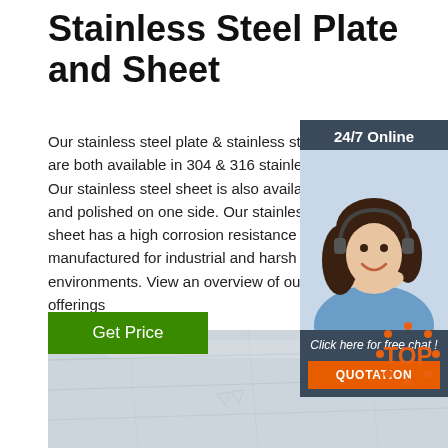Stainless Steel Plate and Sheet
Our stainless steel plate & stainless steel sheet are both available in 304 & 316 stainless. Our stainless steel sheet is also available and polished on one side. Our stainless sheet has a high corrosion resistance and manufactured for industrial and harsh environments. View an overview of our p... offerings
[Figure (screenshot): 24/7 online chat widget with a woman wearing a headset, dark blue background, 'Click here for free chat!' text and orange QUOTATION button]
[Figure (photo): Close-up photograph of stainless steel plate surface, brushed/polished texture]
[Figure (logo): Orange TOP badge logo with dots around the word TOP]